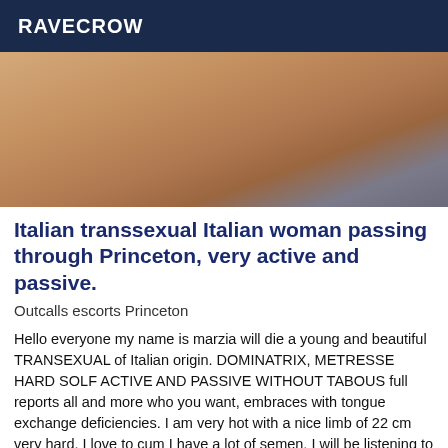RAVECROW
[Figure (photo): Close-up photo of a person's lower body wearing red high heels and red ankle jewelry on a tiled floor]
Italian transsexual Italian woman passing through Princeton, very active and passive.
Outcalls escorts Princeton
Hello everyone my name is marzia will die a young and beautiful TRANSEXUAL of Italian origin. DOMINATRIX, METRESSE HARD SOLF ACTIVE AND PASSIVE WITHOUT TABOUS full reports all and more who you want, embraces with tongue exchange deficiencies. I am very hot with a nice limb of 22 cm very hard. I love to cum I have a lot of semen. I will be listening to your